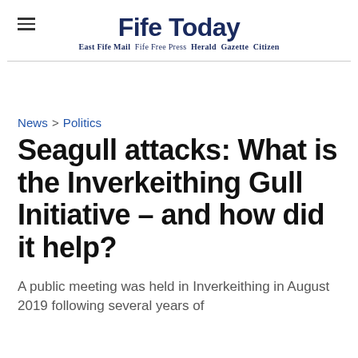Fife Today — East Fife Mail  Fife Free Press  Herald  Gazette  Citizen
News > Politics
Seagull attacks: What is the Inverkeithing Gull Initiative – and how did it help?
A public meeting was held in Inverkeithing in August 2019 following several years of